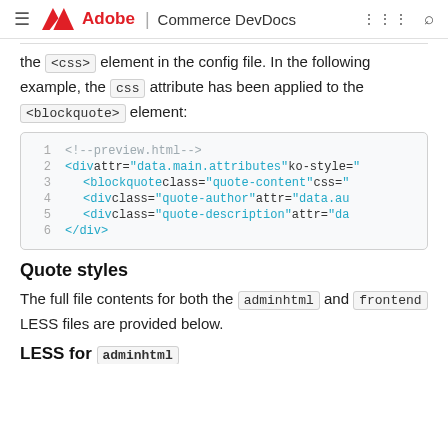Adobe | Commerce DevDocs
the <css> element in the config file. In the following example, the css attribute has been applied to the <blockquote> element:
[Figure (screenshot): Code block showing HTML snippet: line 1 <!--preview.html-->, line 2 <div attr="data.main.attributes" ko-style=", line 3 <blockquote class="quote-content" css=", line 4 <div class="quote-author" attr="data.au, line 5 <div class="quote-description" attr="da, line 6 </div>]
Quote styles
The full file contents for both the adminhtml and frontend LESS files are provided below.
LESS for adminhtml